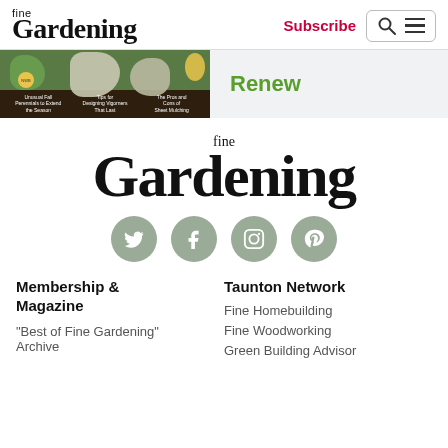fine Gardening | Subscribe | Search/Menu
[Figure (screenshot): Fine Gardening magazine cover banner image showing garden plants with text overlays about perennials, vigorners, and sheet mulching. Renew link in green text.]
[Figure (logo): Fine Gardening large logo — 'fine' in small serif text above 'Gardening' in large bold serif text]
[Figure (infographic): Four social media icons in grey circles: Twitter, Facebook, Instagram, Pinterest]
Membership & Magazine
"Best of Fine Gardening" Archive
Taunton Network
Fine Homebuilding
Fine Woodworking
Green Building Advisor